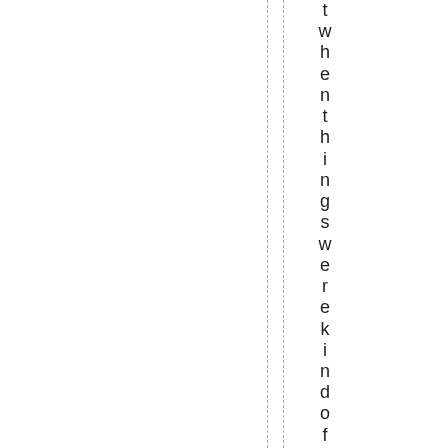t w h e n t h i n g s w e r e k i n d o f o k a y i n T